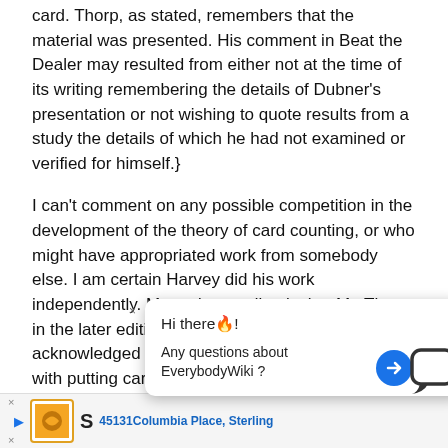card. Thorp, as stated, remembers that the material was presented. His comment in Beat the Dealer may resulted from either not at the time of its writing remembering the details of Dubner's presentation or not wishing to quote results from a study the details of which he had not examined or verified for himself.}
I can't comment on any possible competition in the development of the theory of card counting, or who might have appropriated work from somebody else. I am certain Harvey did his work independently. My understanding is that Mr. Thorp, in the later edition of Beat The Dealer, acknowledged Harvey's work and credited him with putting card counting onto a solid mathematical footing.
I very strongly doubt that he even knew of anybody else's work, much less took it into account. I do... ...be ...t point in... ...S... anybody... ...ne
[Figure (screenshot): Chat popup overlay with text 'Hi there! Any questions about EverybodyWiki?' and a blue arrow button, plus a chat bubble icon. Below is an ad banner showing an orange logo and '45131 Columbia Place, Sterling'.]